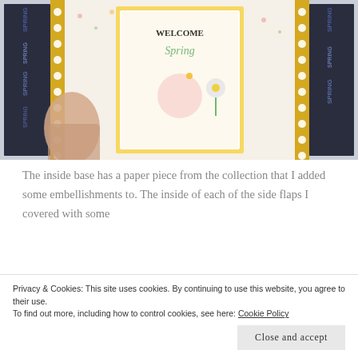[Figure (photo): A crafting photo showing a scrapbook or paper craft box opened up, with 'Welcome Spring' text on a central card surrounded by floral patterned papers. Dark navy patterned papers with 'SPRING' text visible on the sides, gold/yellow dotted border strips, and a person's hand visible holding part of the box.]
The inside base has a paper piece from the collection that I added some embellishments to. The inside of each of the side flaps I covered with some
Privacy & Cookies: This site uses cookies. By continuing to use this website, you agree to their use.
To find out more, including how to control cookies, see here: Cookie Policy
Close and accept